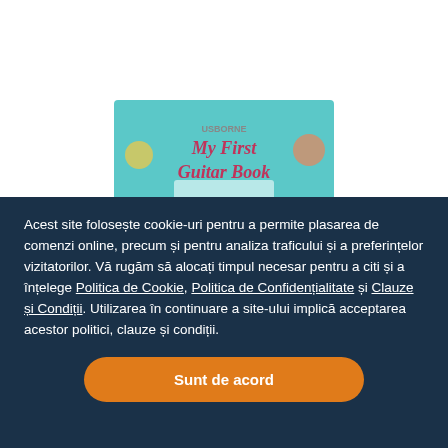[Figure (photo): Top portion of a book cover titled 'My First Guitar Book' with colorful cartoon animals playing instruments on a teal background]
Acest site folosește cookie-uri pentru a permite plasarea de comenzi online, precum și pentru analiza traficului și a preferințelor vizitatorilor. Vă rugăm să alocați timpul necesar pentru a citi și a înțelege Politica de Cookie, Politica de Confidențialitate și Clauze și Condiții. Utilizarea în continuare a site-ului implică acceptarea acestor politici, clauze și condiții.
Sunt de acord